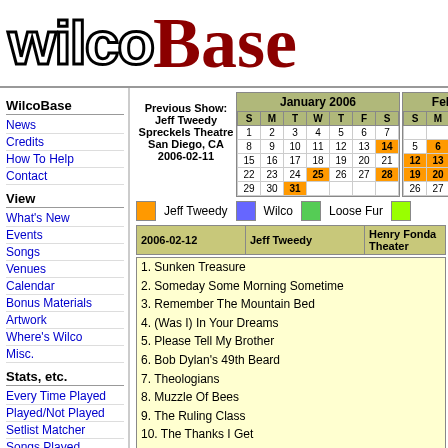WilcoBase
WilcoBase
News
Credits
How To Help
Contact
View
What's New
Events
Songs
Venues
Calendar
Bonus Materials
Artwork
Where's Wilco
Misc.
Stats, etc.
Every Time Played
Played/Not Played
Setlist Matcher
Songs Played
First/Last Time
Previous Show: Jeff Tweedy Spreckels Theatre San Diego, CA 2006-02-11
[Figure (other): January 2006 calendar with highlighted dates: 14 (orange), 25 (orange), 28 (orange), 31 (orange)]
[Figure (other): February 2006 calendar with highlighted dates: 2 (red), 3 (orange?), 6 (orange), 8 (orange), 9 (orange), 12 (orange), 13 (orange), 15 (orange), 16 (orange), 19 (orange), 20 (orange)]
Jeff Tweedy   Wilco   Loose Fur
| Date | Artist | Venue |
| --- | --- | --- |
| 2006-02-12 | Jeff Tweedy | Henry Fonda Theater |
1. Sunken Treasure
2. Someday Some Morning Sometime
3. Remember The Mountain Bed
4. (Was I) In Your Dreams
5. Please Tell My Brother
6. Bob Dylan's 49th Beard
7. Theologians
8. Muzzle Of Bees
9. The Ruling Class
10. The Thanks I Get
11. I Am Trying To Break Your Heart
12. Radio King
13. I'm The Man Who Loves You (with Spencer Tweedy)